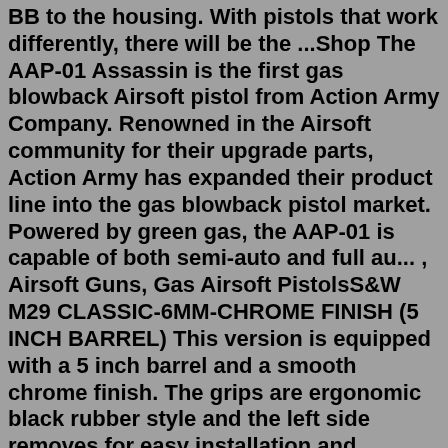BB to the housing. With pistols that work differently, there will be the ...Shop The AAP-01 Assassin is the first gas blowback Airsoft pistol from Action Army Company. Renowned in the Airsoft community for their upgrade parts, Action Army has expanded their product line into the gas blowback pistol market. Powered by green gas, the AAP-01 is capable of both semi-auto and full au... , Airsoft Guns, Gas Airsoft PistolsS&W M29 CLASSIC-6MM-CHROME FINISH (5 INCH BARREL) This version is equipped with a 5 inch barrel and a smooth chrome finish. The grips are ergonomic black rubber style and the left side removes for easy installation and removal of the 12-gram CO2 cartridges used to power this airsoft pistol. $154.99.Jul 27, 2022 · 3. Install a MOSFET. A MOSFET, or a metal-oxide-semiconductor field-effect transistor, is a highly practical upgrade to cheap airsoft guns that will improve your trigger response and extend trigger life by preventing the contacts from burning out. Your AEG's trigger is probably a basic model that works by pressing two contacts